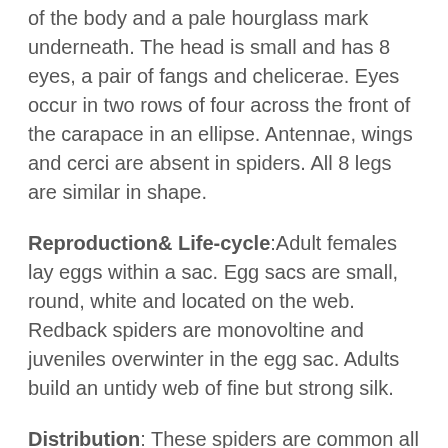of the body and a pale hourglass mark underneath. The head is small and has 8 eyes, a pair of fangs and chelicerae. Eyes occur in two rows of four across the front of the carapace in an ellipse. Antennae, wings and cerci are absent in spiders. All 8 legs are similar in shape.
Reproduction& Life-cycle:Adult females lay eggs within a sac. Egg sacs are small, round, white and located on the web. Redback spiders are monovoltine and juveniles overwinter in the egg sac. Adults build an untidy web of fine but strong silk.
Distribution: These spiders are common all over Australia.
Pest Status:Webs are constructed away from the direct effects of weather; under steps, chairs, tables, window